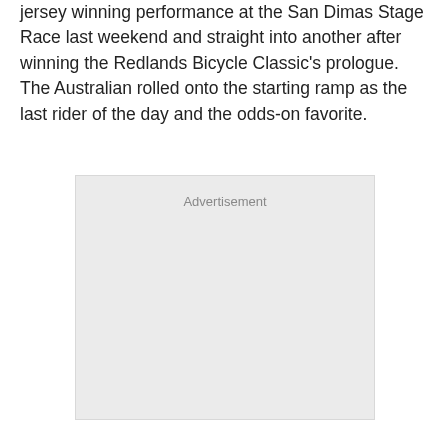jersey winning performance at the San Dimas Stage Race last weekend and straight into another after winning the Redlands Bicycle Classic's prologue. The Australian rolled onto the starting ramp as the last rider of the day and the odds-on favorite.
[Figure (other): Advertisement placeholder box with light gray background and 'Advertisement' label at top center]